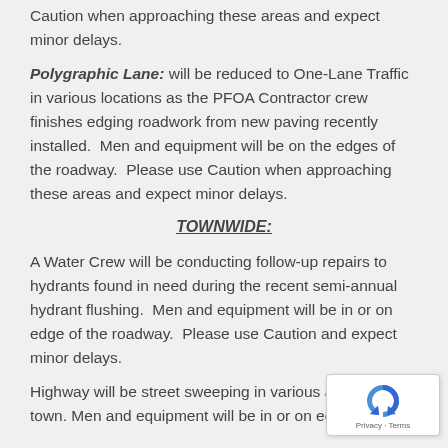Caution when approaching these areas and expect minor delays.
Polygraphic Lane: will be reduced to One-Lane Traffic in various locations as the PFOA Contractor crew finishes edging roadwork from new paving recently installed.  Men and equipment will be on the edges of the roadway.  Please use Caution when approaching these areas and expect minor delays.
TOWNWIDE:
A Water Crew will be conducting follow-up repairs to hydrants found in need during the recent semi-annual hydrant flushing.  Men and equipment will be in or on edge of the roadway.  Please use Caution and expect minor delays.
Highway will be street sweeping in various areas of town. Men and equipment will be in or on edge of